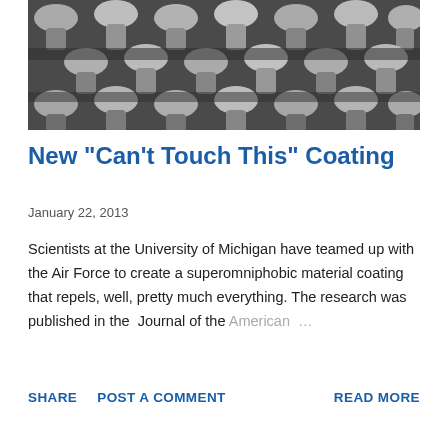[Figure (photo): Scanning electron microscope image of a superomniphobic coating surface showing a repeating grid pattern of mushroom-shaped micro/nano structures in black and white.]
New "Can't Touch This" Coating
January 22, 2013
Scientists at the University of Michigan have teamed up with the Air Force to create a superomniphobic material coating that repels, well, pretty much everything. The research was published in the Journal of the American …
SHARE   POST A COMMENT   READ MORE